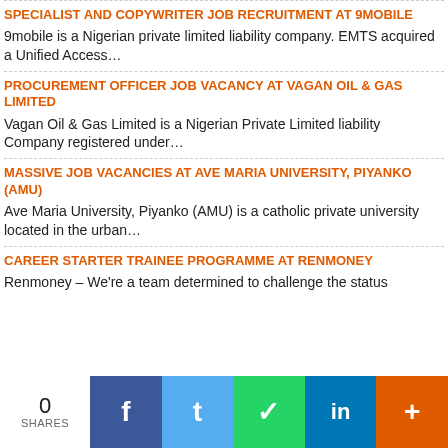SPECIALIST AND COPYWRITER JOB RECRUITMENT AT 9MOBILE
9mobile is a Nigerian private limited liability company. EMTS acquired a Unified Access…
PROCUREMENT OFFICER JOB VACANCY AT VAGAN OIL & GAS LIMITED
Vagan Oil & Gas Limited is a Nigerian Private Limited liability Company registered under…
MASSIVE JOB VACANCIES AT AVE MARIA UNIVERSITY, PIYANKO (AMU)
Ave Maria University, Piyanko (AMU) is a catholic private university located in the urban…
CAREER STARTER TRAINEE PROGRAMME AT RENMONEY
Renmoney – We're a team determined to challenge the status
0 SHARES